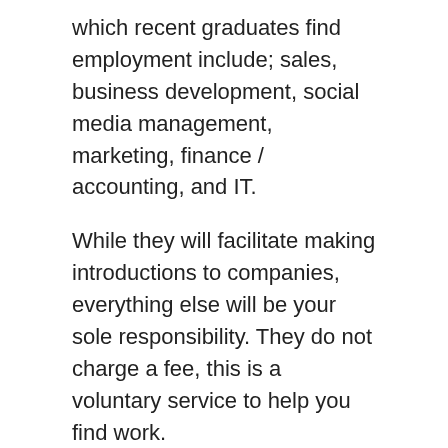which recent graduates find employment include; sales, business development, social media management, marketing, finance / accounting, and IT.
While they will facilitate making introductions to companies, everything else will be your sole responsibility. They do not charge a fee, this is a voluntary service to help you find work.
Digital Irish also host regular networking sessions and quick-pitch events where startups present to the community and ask for support and feedback. This is a good opportunity to show up and mingle with other professionals in New York, mainly from Irish backgrounds and strike up conversations about jobs, advice and connections. Keep updated on upcoming events by following on social media pages and